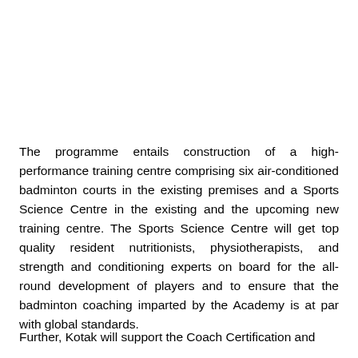The programme entails construction of a high-performance training centre comprising six air-conditioned badminton courts in the existing premises and a Sports Science Centre in the existing and the upcoming new training centre. The Sports Science Centre will get top quality resident nutritionists, physiotherapists, and strength and conditioning experts on board for the all-round development of players and to ensure that the badminton coaching imparted by the Academy is at par with global standards.
Further, Kotak will support the Coach Certification and